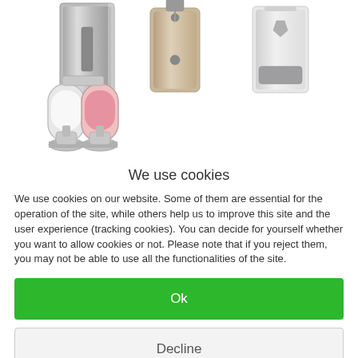[Figure (photo): Product images of soap/sanitizer dispensers: three wall-mounted dispensers in top row (stainless steel rectangular, beige/champagne push-pump, white push-pump), and a double-chamber chrome pump dispenser with clear/pink soap in bottom-left.]
We use cookies
We use cookies on our website. Some of them are essential for the operation of the site, while others help us to improve this site and the user experience (tracking cookies). You can decide for yourself whether you want to allow cookies or not. Please note that if you reject them, you may not be able to use all the functionalities of the site.
Ok
Decline